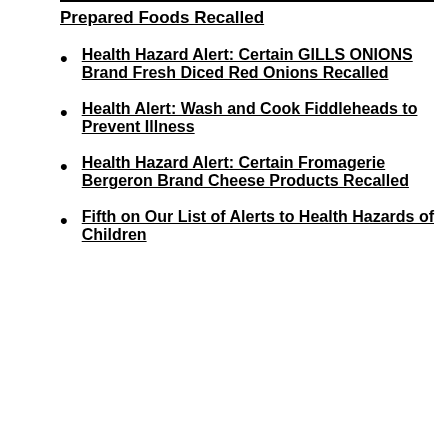Prepared Foods Recalled
Health Hazard Alert: Certain GILLS ONIONS Brand Fresh Diced Red Onions Recalled
Health Alert: Wash and Cook Fiddleheads to Prevent Illness
Health Hazard Alert: Certain Fromagerie Bergeron Brand Cheese Products Recalled
Fifth on Our List of Alerts to Health Hazards of Children